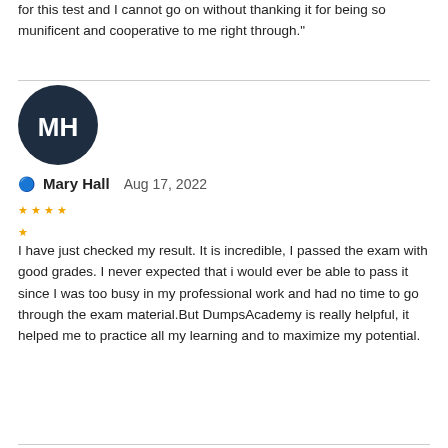for this test and I cannot go on without thanking it for being so munificent and cooperative to me right through."
[Figure (illustration): Dark navy circular avatar with white initials MH]
Mary Hall   Aug 17, 2022
★ ★ ★ ★ ★
I have just checked my result. It is incredible, I passed the exam with good grades. I never expected that i would ever be able to pass it since I was too busy in my professional work and had no time to go through the exam material.But DumpsAcademy is really helpful, it helped me to practice all my learning and to maximize my potential.